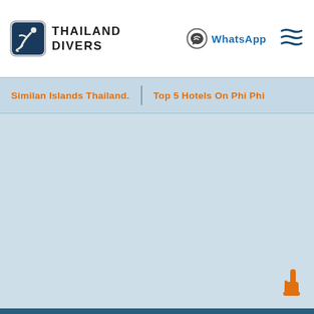[Figure (logo): Thailand Divers logo — square icon with diver silhouette on blue/dark background, next to bold uppercase text THAILAND DIVERS]
[Figure (other): WhatsApp circle icon in teal/green, followed by bold blue text 'WhatsApp']
[Figure (other): Hamburger/menu icon with three wavy lines in dark blue]
Similan Islands Thailand.
Top 5 Hotels On Phi Phi
[Figure (other): Orange thumbs-up / pointer hand icon in bottom right corner]